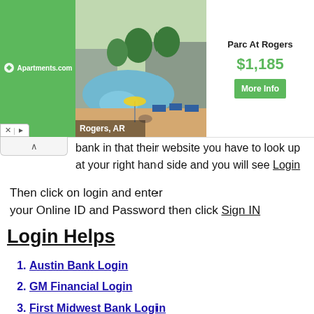[Figure (screenshot): Advertisement banner for apartments.com showing 'Parc At Rogers' apartment listing with photo of pool area, price $1,185, and More Info button. Location: Rogers, AR.]
bank in that their website you have to look up at your right hand side and you will see Login
Then click on login and enter your Online ID and Password then click Sign IN
Login Helps
Austin Bank Login
GM Financial Login
First Midwest Bank Login
Nationwide Online Banking Login